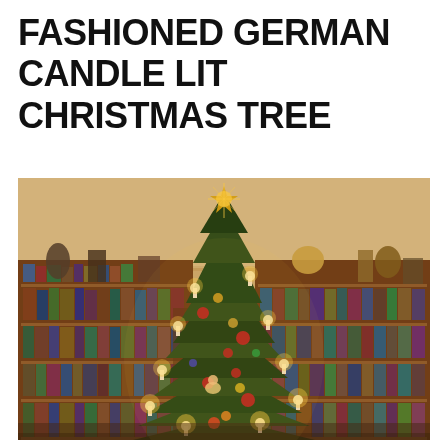FASHIONED GERMAN CANDLE LIT CHRISTMAS TREE
[Figure (photo): A candle-lit decorated Christmas tree in a room with wooden bookshelves filled with books. The tree has real candles, colorful ornaments, and a star topper. Various decorative objects sit atop the bookshelves.]